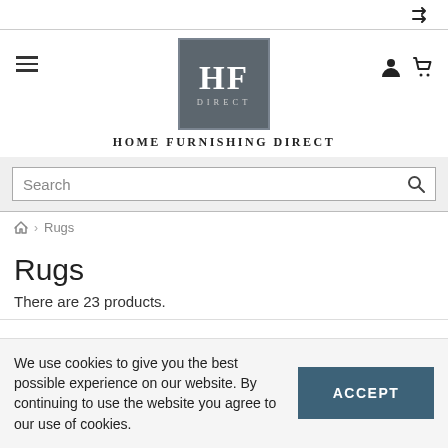Home Furnishing Direct
[Figure (logo): HF Direct logo — grey square with white HF letters and DIRECT text below, with brand name Home Furnishing Direct beneath]
Search
Home > Rugs
Rugs
There are 23 products.
We use cookies to give you the best possible experience on our website. By continuing to use the website you agree to our use of cookies.